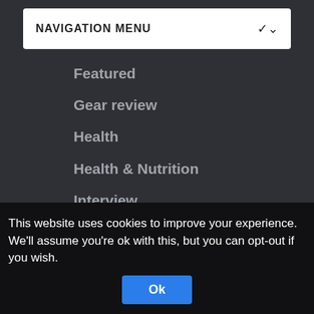NAVIGATION MENU
Featured
Gear review
Health
Health & Nutrition
Interview
Interviews
Nutrition
Regional BJJ News
Seminar
This website uses cookies to improve your experience. We'll assume you're ok with this, but you can opt-out if you wish.
Ok